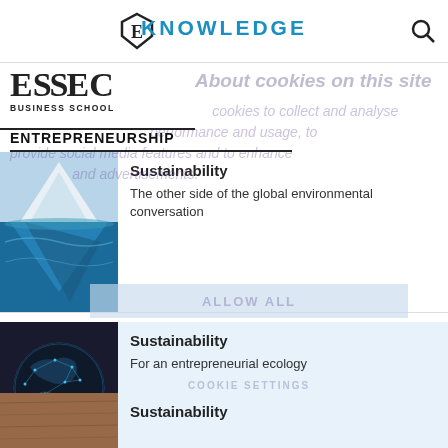KNOWLEDGE
[Figure (logo): ESSEC Business School logo with shield emblem]
ENTREPRENEURSHIP
About cookies on this site
cookies to collect and analyse performance and usage, to provide social media features and to enhance and advertisements.
[Figure (photo): Iceberg photograph showing above and below water]
Sustainability
The other side of the global environmental conversation
[Figure (photo): Digital globe with network connections on dark background]
Sustainability
For an entrepreneurial ecology
[Figure (photo): Wooden texture or architecture photograph]
Sustainability